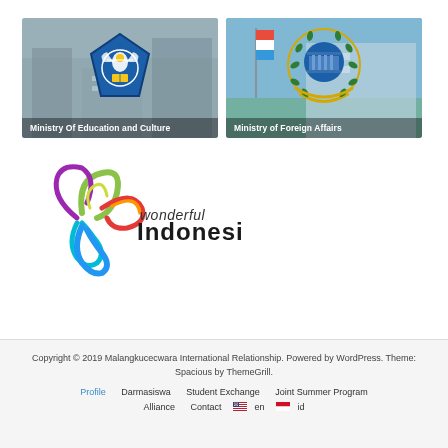[Figure (logo): Ministry of Education and Culture banner with blue pentagon logo/badge showing garuda symbol, against grey building background]
[Figure (logo): Ministry of Foreign Affairs banner with gold wreath and blue building emblem, against blue sky and building background]
[Figure (logo): Wonderful Indonesia logo with colorful swirl graphic and stylized text]
Copyright © 2019 Malangkucecwara International Relationship. Powered by WordPress. Theme: Spacious by ThemeGrill.
Profile   Darmasiswa   Student Exchange   Joint Summer Program   Alliance   Contact   en   id